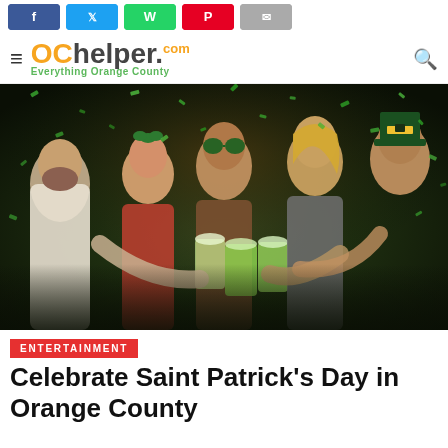OChelper.com — Everything Orange County
[Figure (photo): Group of five young adults celebrating Saint Patrick's Day, wearing green shamrock accessories and hats, toasting with large mugs of green beer, with green confetti falling around them in a dimly lit bar setting.]
ENTERTAINMENT
Celebrate Saint Patrick's Day in Orange County